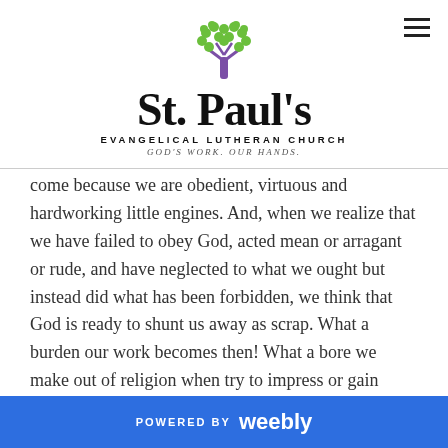[Figure (logo): St. Paul's Evangelical Lutheran Church logo with a green and purple tree above the text]
come because we are obedient, virtuous and hardworking little engines. And, when we realize that we have failed to obey God, acted mean or arragant or rude, and have neglected to what we ought but instead did what has been forbidden, we think that God is ready to shunt us away as scrap. What a burden our work becomes then! What a bore we make out of religion when try to impress or gain favor with God! What a depressing and anxious prospect prayer or worship or Bible study becomes for us when we
POWERED BY weebly